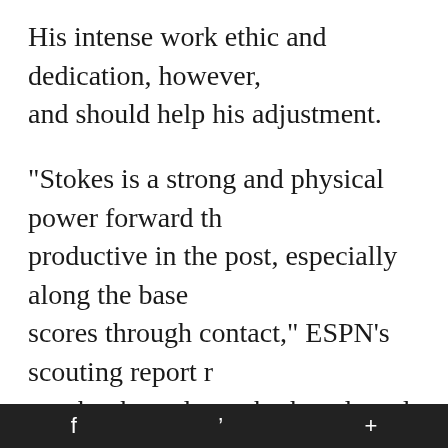His intense work ethic and dedication, however, and should help his adjustment.
"Stokes is a strong and physical power forward that is productive in the post, especially along the baseline, scores through contact," ESPN's scouting report noted. tough rebounder on both ends and is a good low post his skills improve, so will his production."
Regardless of how much of an impact he has on the season, Stokes' announcement is Martin's first sig UT's coach. Former UT coach Bruce Pearl had dev relationship with Stokes, but his firing in March a troubles appeared to douse the Vols' chances.
f  ’  +